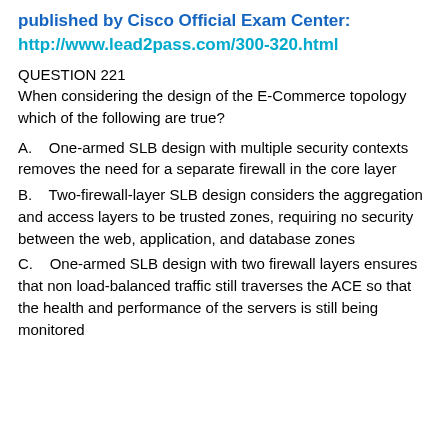published by Cisco Official Exam Center:
http://www.lead2pass.com/300-320.html
QUESTION 221
When considering the design of the E-Commerce topology which of the following are true?
A.    One-armed SLB design with multiple security contexts removes the need for a separate firewall in the core layer
B.    Two-firewall-layer SLB design considers the aggregation and access layers to be trusted zones, requiring no security between the web, application, and database zones
C.    One-armed SLB design with two firewall layers ensures that non load-balanced traffic still traverses the ACE so that the health and performance of the servers is still being monitored